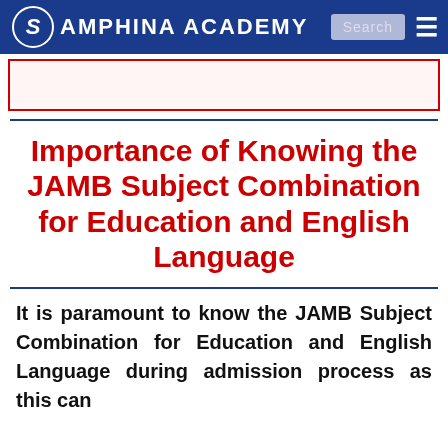SAMPHINA ACADEMY
Importance of Knowing the JAMB Subject Combination for Education and English Language
It is paramount to know the JAMB Subject Combination for Education and English Language during admission process as this can